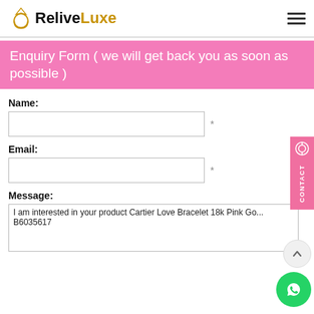ReliveLuxe
Enquiry Form ( we will get back you as soon as possible )
Name:
Email:
Message:
I am interested in your product Cartier Love Bracelet 18k Pink Gold B6035617